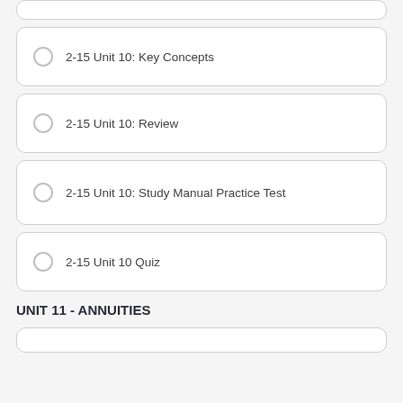2-15 Unit 10: Key Concepts
2-15 Unit 10: Review
2-15 Unit 10: Study Manual Practice Test
2-15 Unit 10 Quiz
UNIT 11 - ANNUITIES